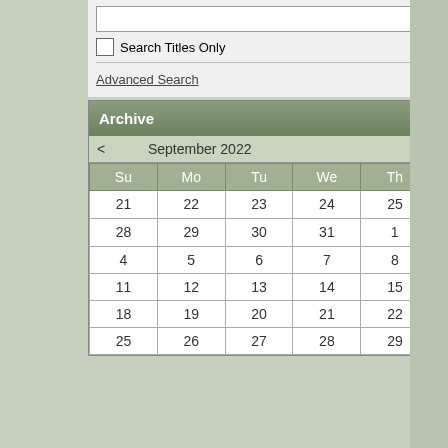Search Titles Only
Advanced Search | Search
| Su | Mo | Tu | We | Th | Fr | Sa |
| --- | --- | --- | --- | --- | --- | --- |
| 21 | 22 | 23 | 24 | 25 | 26 | 27 |
| 28 | 29 | 30 | 31 | 1 | 2 | 3 |
| 4 | 5 | 6 | 7 | 8 | 9 | 10 |
| 11 | 12 | 13 | 14 | 15 | 16 | 17 |
| 18 | 19 | 20 | 21 | 22 | 23 | 24 |
| 25 | 26 | 27 | 28 | 29 | 30 | 1 |
noticed the risers would not match and my chain cover was off the bike so I took advantage of that. I primed it and look forward to having a more uniform color throughout the bike. I also removed the rear handle from the back seat, the previous owner coated